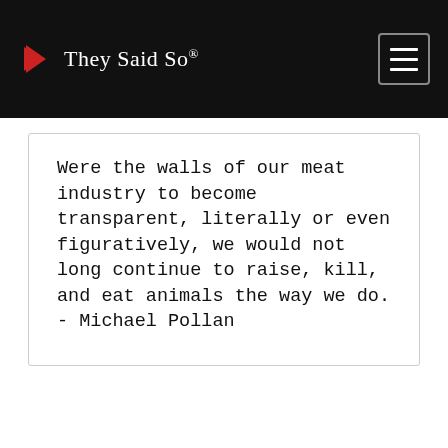They Said So®
Were the walls of our meat industry to become transparent, literally or even figuratively, we would not long continue to raise, kill, and eat animals the way we do. - Michael Pollan